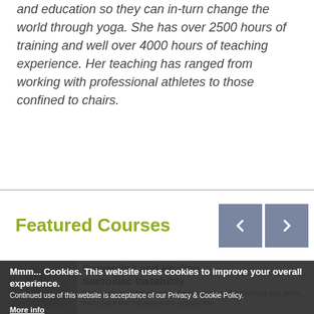and education so they can in-turn change the world through yoga. She has over 2500 hours of training and well over 4000 hours of teaching experience. Her teaching has ranged from working with professional athletes to those confined to chairs.
Featured Courses
[Figure (screenshot): Featured course thumbnail showing a yoga-related image]
Preventing and Healing Sacroiliac Instability
While millions of Americans suffer from pain in the low back and pelvis, many back and hip issues are actually the
Mmm... Cookies. This website uses cookies to improve your overall experience. Continued use of this website is acceptance of our Privacy & Cookie Policy. More info